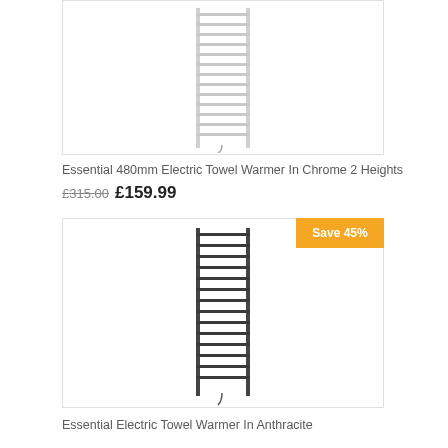[Figure (photo): Chrome electric towel warmer rail product image on white background]
Essential 480mm Electric Towel Warmer In Chrome 2 Heights
£315.00 £159.99
[Figure (photo): Anthracite electric towel warmer rail product image on white background with Save 45% badge]
Essential Electric Towel Warmer In Anthracite